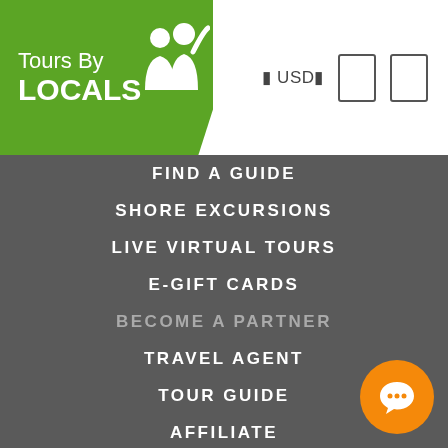[Figure (logo): Tours By LOCALS logo on green background with two person silhouettes, white text]
FIND A GUIDE
SHORE EXCURSIONS
LIVE VIRTUAL TOURS
E-GIFT CARDS
BECOME A PARTNER
TRAVEL AGENT
TOUR GUIDE
AFFILIATE
GOT QUESTIONS?
COVID-19 RESPONSE
HOW IT WORKS
FAQS
LOCAL GUIDES
CANCELLATION POLICY